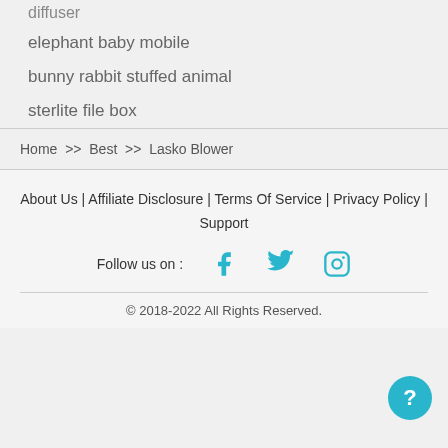diffuser
elephant baby mobile
bunny rabbit stuffed animal
sterlite file box
Home >> Best >> Lasko Blower
About Us | Affiliate Disclosure | Terms Of Service | Privacy Policy | Support
Follow us on :
© 2018-2022 All Rights Reserved.